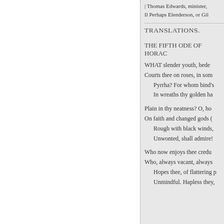| Thomas Edwards, minister,
Il Perhaps Elenderson, or Gil
TRANSLATIONS.
THE FIFTH ODE OF HORAC
WHAT slender youth, bede
Courts thee on roses, in som
  Pyrrha? For whom bind's
  In wreaths thy golden ha
Plain in thy neatness? O, ho
On faith and changed gods (
  Rough with black winds,
  Unwonted, shall admire!
Who now enjoys thee credu
Who, always vacant, always
  Hopes thee, of flattering p
  Unmindful. Hapless they,